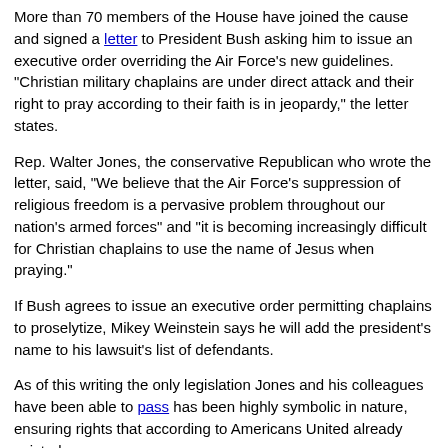More than 70 members of the House have joined the cause and signed a letter to President Bush asking him to issue an executive order overriding the Air Force's new guidelines. "Christian military chaplains are under direct attack and their right to pray according to their faith is in jeopardy," the letter states.
Rep. Walter Jones, the conservative Republican who wrote the letter, said, "We believe that the Air Force's suppression of religious freedom is a pervasive problem throughout our nation's armed forces" and "it is becoming increasingly difficult for Christian chaplains to use the name of Jesus when praying."
If Bush agrees to issue an executive order permitting chaplains to proselytize, Mikey Weinstein says he will add the president's name to his lawsuit's list of defendants.
As of this writing the only legislation Jones and his colleagues have been able to pass has been highly symbolic in nature, ensuring rights that according to Americans United already existed.
However, although the wording of the guidelines has, for the most part, been upheld, it still remains to be seen if they will be effective at correcting the long-term systematic problems that have become engrained at the academy.
Abraham Foxman, who leads the Anti-Defamation League, said the new guidelines "say all the right things. The major question is, how will be they become a reality? A lot of the people implementing this are the people who violated it."
Also, as The Washington Post recently pointed out, the guidelines "do not say whether Air Force officials can provide office space or other assistance to professional missionaries who train cadets to evangelize among their